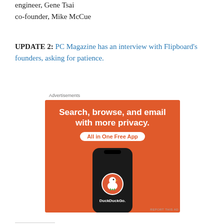engineer, Gene Tsai
co-founder, Mike McCue
UPDATE 2: PC Magazine has an interview with Flipboard's founders, asking for patience.
Advertisements
[Figure (photo): DuckDuckGo advertisement: orange background with text 'Search, browse, and email with more privacy. All in One Free App' and an image of a smartphone showing the DuckDuckGo logo and app name.]
REPORT THIS AD